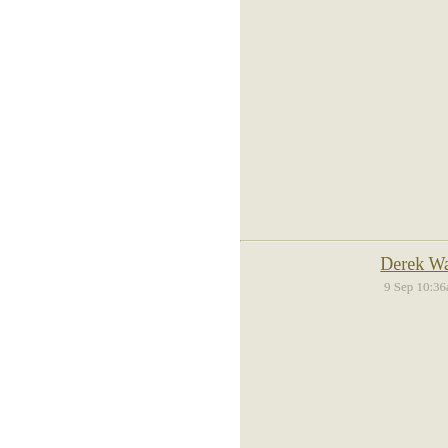autonomous individual bu Nature has also “unqualif in nature’s web. Emphasis ecosystems, and the Eart
It is believed that EE abo could help us a lot in this
Regards
Derek Wall
9 Sep 10:36am
I think this is very much t
I am most encouraged by indigenous people have u taken away by oil explore were killed by the govern
However they have consi something I think to learn
We do need to sharpen up backwards for far too lon